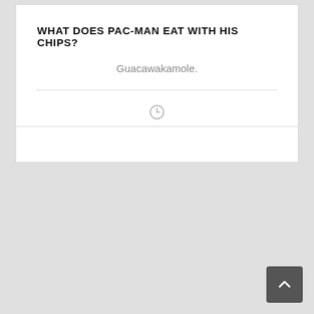WHAT DOES PAC-MAN EAT WITH HIS CHIPS?
Guacawakamole.
[Figure (other): Clock/timer icon]
[Figure (other): Back to top arrow button]